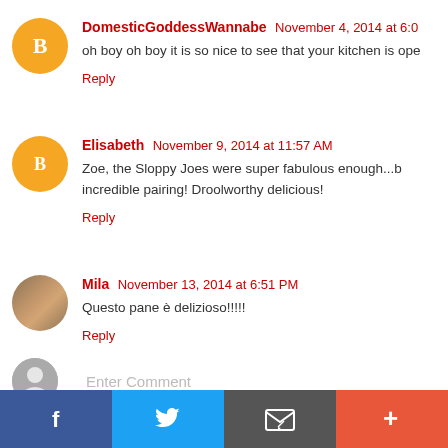DomesticGoddessWannabe  November 4, 2014 at 6:0…
oh boy oh boy it is so nice to see that your kitchen is ope…
Reply
Elisabeth  November 9, 2014 at 11:57 AM
Zoe, the Sloppy Joes were super fabulous enough...b… incredible pairing! Droolworthy delicious!
Reply
Mila  November 13, 2014 at 6:51 PM
Questo pane è delizioso!!!!!
Reply
Enter Comment